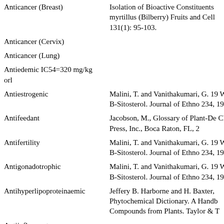| Activity | Reference |
| --- | --- |
| Anticancer (Breast) | Isolation of Bioactive Constituents myrtillus (Bilberry) Fruits and Cell 131(1): 95-103. |
| Anticancer (Cervix) |  |
| Anticancer (Lung) |  |
| Antiedemic IC54=320 mg/kg orl |  |
| Antiestrogenic | Malini, T. and Vanithakumari, G. 19 With B-Sitosterol. Journal of Ethno 234, 1990. |
| Antifeedant | Jacobson, M., Glossary of Plant-De CRC Press, Inc., Boca Raton, FL, 2 |
| Antifertility | Malini, T. and Vanithakumari, G. 19 With B-Sitosterol. Journal of Ethno 234, 1990. |
| Antigonadotrophic | Malini, T. and Vanithakumari, G. 19 With B-Sitosterol. Journal of Ethno 234, 1990. |
| Antihyperlipoproteinaemic | Jeffery B. Harborne and H. Baxter, Phytochemical Dictionary. A Handb Compounds from Plants. Taylor & T |
| Antiinflammatory |  |
| Antileukemic |  |